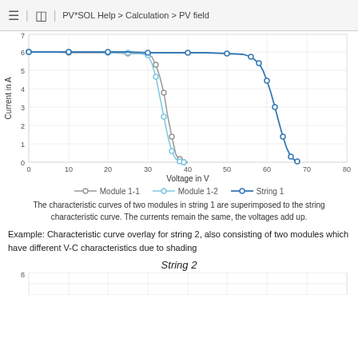PV*SOL Help > Calculation > PV field
[Figure (continuous-plot): IV characteristic curves for String 1: three curves plotted — Module 1-1 (gray with dots, drops steeply around V=27-32), Module 1-2 (light blue with dots, drops steeply around V=27-32), and String 1 (dark blue with dots, extends to ~V=65). X-axis: Voltage in V (0 to 80), Y-axis: Current in A (0 to ~7). Gridlines at every 10V and 1A.]
The characteristic curves of two modules in string 1 are superimposed to the string characteristic curve. The currents remain the same, the voltages add up.
Example: Characteristic curve overlay for string 2, also consisting of two modules which have different V-C characteristics due to shading
String 2
[Figure (continuous-plot): Partial IV characteristic curve for String 2, showing only the top portion (y-axis starts at 8) — chart is cut off at bottom of page.]